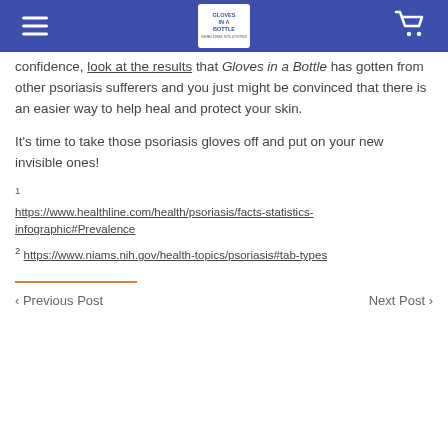Gloves in a Bottle
confidence, look at the results that Gloves in a Bottle has gotten from other psoriasis sufferers and you just might be convinced that there is an easier way to help heal and protect your skin.
It’s time to take those psoriasis gloves off and put on your new invisible ones!
1 https://www.healthline.com/health/psoriasis/facts-statistics-infographic#Prevalence
2 https://www.niams.nih.gov/health-topics/psoriasis#tab-types
< Previous Post   Next Post >